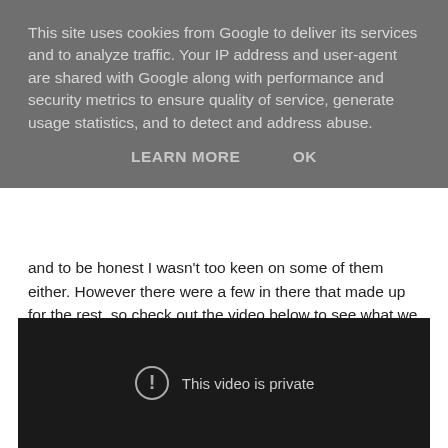This site uses cookies from Google to deliver its services and to analyze traffic. Your IP address and user-agent are shared with Google along with performance and security metrics to ensure quality of service, generate usage statistics, and to detect and address abuse.
LEARN MORE    OK
and to be honest I wasn't too keen on some of them either. However there were a few in there that made up for the rest, so check out the video below to see what we liked and what we didn't like!
[Figure (screenshot): Embedded video player showing 'This video is private' message with a circular exclamation mark icon on a dark background.]